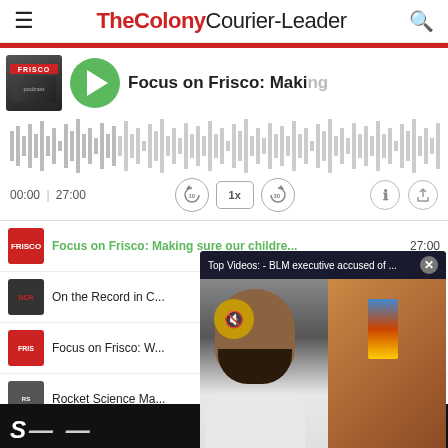TheColonyCourier-Leader
[Figure (screenshot): Podcast player UI showing 'Focus on Frisco: Making' with green play button, album art, audio waveform, time display 00:00 | 27:00, and playback controls (rewind 10, speed 1x, forward 30, info, share)]
Focus on Frisco: Making sure our childre...  27:00
On the Record in C...
Focus on Frisco: W...
Rocket Science Ma...
Rocket Science Ma...
[Figure (screenshot): Popup video overlay with dark header reading 'Top Videos: - BLM executive accused of ...' with X close button, and video showing a man with beard in white shirt against urban background with mute button overlay]